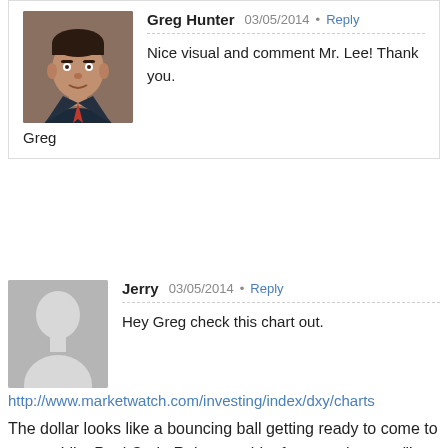[Figure (photo): Profile photo of Greg Hunter, a man in a suit]
Greg Hunter   03/05/2014 • Reply
Nice visual and comment Mr. Lee! Thank you.
Greg
[Figure (illustration): Generic gray silhouette avatar placeholder]
Jerry   03/05/2014 • Reply
Hey Greg check this chart out.
http://www.marketwatch.com/investing/index/dxy/charts
The dollar looks like a bouncing ball getting ready to come to a stop. Like Paul Craig Roberts said a few months ago. "Its either the dollar – or – the Banks ". They can't save both. I guess we know which one they chose don't we? Putin is on board with the Chinese on crashing the dollar. I don't think the Bankers will care what happens in this country after that. They've already stole as much money as they could, and besides they will be sitting at the table with the Russians and Chinese when the reset comes. Its like monopoly . The Bank always wins, and we don't get to go past "GO" or collect $200.